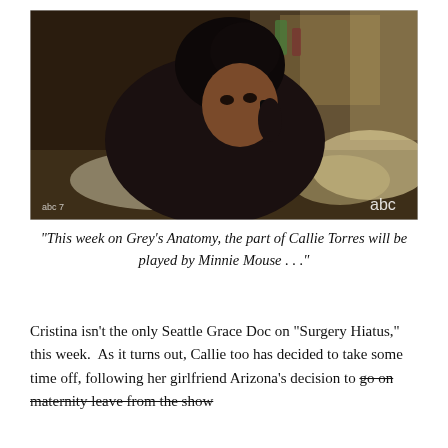[Figure (photo): A woman with dark hair pulled up, wearing a dark hoodie, lying in bed talking on a phone. Scene appears to be from Grey's Anatomy TV show on ABC. Room is dark and messy in the background.]
“This week on Grey’s Anatomy, the part of Callie Torres will be played by Minnie Mouse . . .”
Cristina isn’t the only Seattle Grace Doc on “Surgery Hiatus,” this week.  As it turns out, Callie too has decided to take some time off, following her girlfriend Arizona’s decision to go on maternity leave from the show